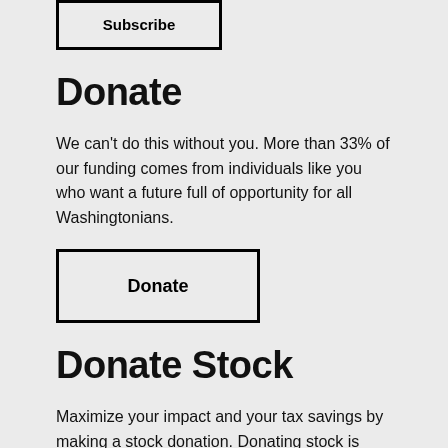[Figure (other): Subscribe button — outlined rectangle with bold text 'Subscribe']
Donate
We can't do this without you. More than 33% of our funding comes from individuals like you who want a future full of opportunity for all Washingtonians.
[Figure (other): Donate button — outlined rectangle with bold text 'Donate']
Donate Stock
Maximize your impact and your tax savings by making a stock donation. Donating stock is quick and easy, click the link below to make a stock gift in under 5 minutes.